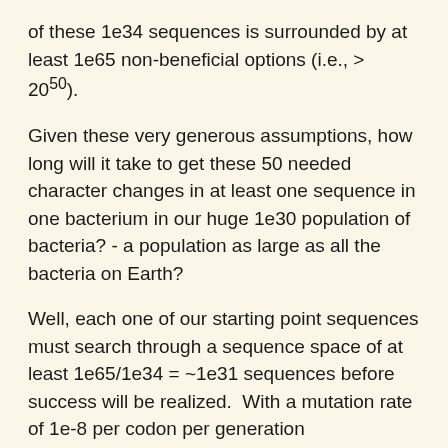of these 1e34 sequences is surrounded by at least 1e65 non-beneficial options (i.e., > 20^50).
Given these very generous assumptions, how long will it take to get these 50 needed character changes in at least one sequence in one bacterium in our huge 1e30 population of bacteria? - a population as large as all the bacteria on Earth?
Well, each one of our starting point sequences must search through a sequence space of at least 1e65/1e34 = ~1e31 sequences before success will be realized.  With a mutation rate of 1e-8 per codon per generation